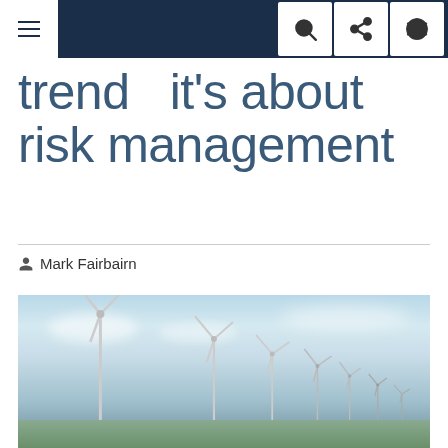Navigation bar with menu, search, share, and globe icons
trend  it's about risk management
Mark Fairbairn
[Figure (photo): Wind turbines against a partly cloudy blue sky, multiple turbines visible in a wind farm landscape]